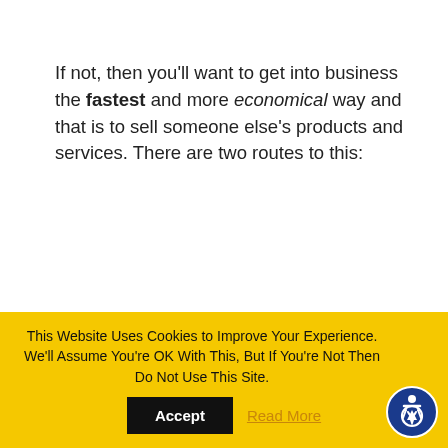If not, then you'll want to get into business the fastest and more economical way and that is to sell someone else's products and services. There are two routes to this:
1. Affiliate Marketing and...
2. Network marketing.
This Website Uses Cookies to Improve Your Experience. We'll Assume You're OK With This, But If You're Not Then Do Not Use This Site. Accept Read More